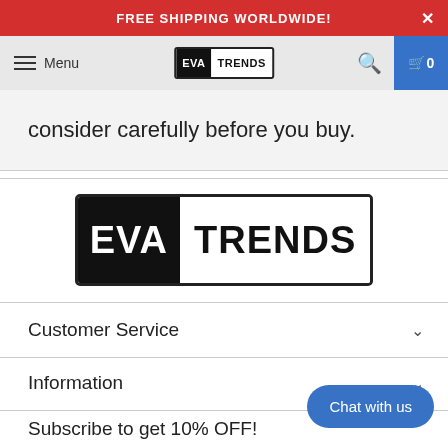FREE SHIPPING WORLDWIDE!
Menu | EVA TRENDS logo | Search | Cart 0
consider carefully before you buy.
[Figure (logo): EVA TRENDS logo — large black and white logo centered on page]
Customer Service
Information
Subscribe to get 10% OFF!